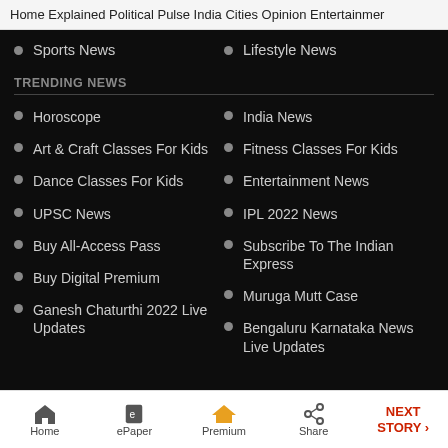Home  Explained  Political Pulse  India  Cities  Opinion  Entertainment
Sports News
Lifestyle News
TRENDING NEWS
Horoscope
India News
Art & Craft Classes For Kids
Fitness Classes For Kids
Dance Classes For Kids
Entertainment News
UPSC News
IPL 2022 News
Buy All-Access Pass
Subscribe To The Indian Express
Buy Digital Premium
Muruga Mutt Case
Ganesh Chaturthi 2022 Live Updates
Bengaluru Karnataka News Live Updates
Home  ePaper  Premium  Share  NEXT STORY